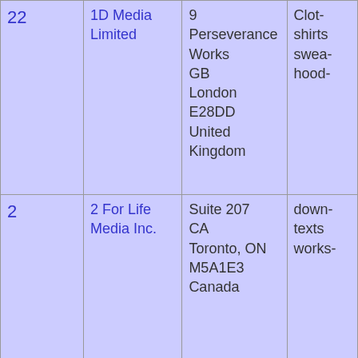|  |  |  |  |
| --- | --- | --- | --- |
| 22 (partial) | 1D Media Limited | 9 Perseverance Works
GB
London E28DD
United Kingdom | Clothing shirts swea- hood- |
| 2 | 2 For Life Media Inc. | Suite 207
CA
Toronto, ON
M5A1E3
Canada | down- texts works- |
| 21 YELLOW TULIPS | 21 Yellow Tulips, LLC | Suite 25426
11420 Santa Monica Blvd
Los Angeles CA
90025 | Hosti- in the |
| 21 YELLOW TULIPS | 21 Yellow Tulips, LLC | Suite 25426
11420 Santa Monica Blvd
Los Angeles CA
90025 | Trans- soun- image- |